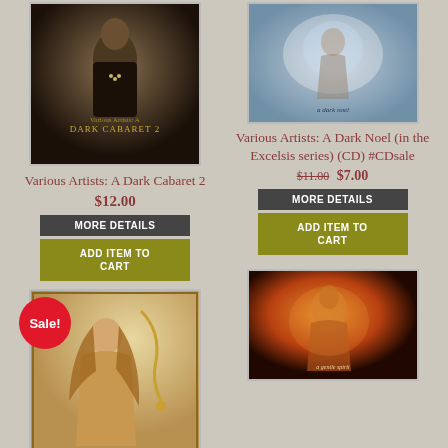[Figure (photo): Album cover for A Dark Cabaret 2 showing a woman in black dress with beads]
Various Artists: A Dark Cabaret 2
$12.00
MORE DETAILS
ADD ITEM TO CART
[Figure (photo): Album cover for A Dark Noel in the Excelsis series]
Various Artists: A Dark Noel (in the Excelsis series) (CD) #CDsale
$11.00 $7.00
MORE DETAILS
ADD ITEM TO CART
[Figure (photo): Album cover for A Sepiachord Passport showing illustrated woman with long hair]
Sale!
Various Artists: A Sepiachord Passport (CD) #CDsale
[Figure (photo): Album cover partially visible at bottom right, warm amber tones showing a person]